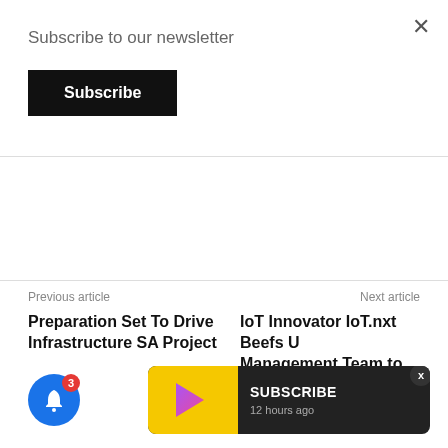×
Subscribe to our newsletter
Subscribe
Previous article
Next article
Preparation Set To Drive Infrastructure SA Project
IoT Innovator IoT.nxt Beefs Up Management Team to Handle
[Figure (screenshot): Blue notification bell icon with red badge showing count 3]
[Figure (screenshot): Dark toast notification with yellow icon showing subscribe text and 12 hours ago timestamp]